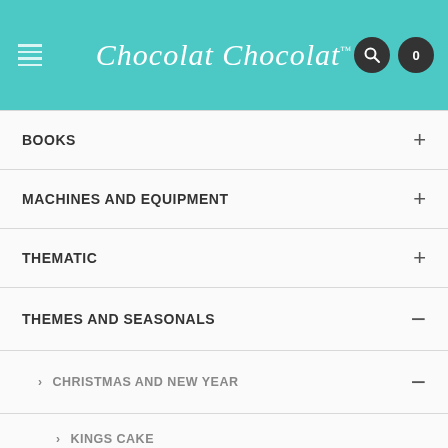[Figure (logo): Chocolat Chocolat logo in white cursive script on teal background with hamburger menu, search icon, and cart icon (0)]
BOOKS +
MACHINES AND EQUIPMENT +
THEMATIC +
THEMES AND SEASONALS −
> CHRISTMAS AND NEW YEAR −
> KINGS CAKE
> CHRISTMAS PACKAGING −